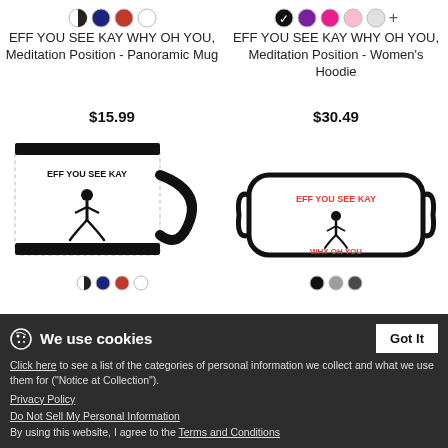[Figure (photo): Product listing for EFF YOU SEE KAY WHY OH YOU, Meditation Position - Panoramic Mug with color swatches (half-black, navy, red, white)]
EFF YOU SEE KAY WHY OH YOU, Meditation Position - Panoramic Mug
$15.99
[Figure (photo): Product listing for EFF YOU SEE KAY WHY OH YOU, Meditation Position - Women's Hoodie with color swatches (black checkmark, purple, hot pink, pink, gray, plus)]
EFF YOU SEE KAY WHY OH YOU, Meditation Position - Women's Hoodie
$30.49
[Figure (photo): Panoramic mug product image showing EFF YOU SEE KAY meditation figure WHY OH YOU text on white mug with black handle]
[Figure (photo): Face mask product image showing EFF YOU SEE KAY meditation figure WHY OH YOU text in red on white mask with black border]
We use cookies
Got It
Click here to see a list of the categories of personal information we collect and what we use them for ("Notice at Collection").
Privacy Policy
Do Not Sell My Personal Information
By using this website, I agree to the Terms and Conditions
EFF YOU SEE KAY WHY OH YOU, Meditation Position - Panoramic Mug
EFF YOU SEE KAY WHY OH YOU, Meditation Position - Adjustable Cotton Face...